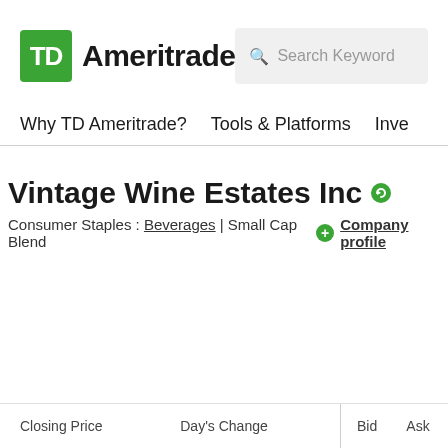[Figure (logo): TD Ameritrade logo with green TD box and bold Ameritrade wordmark]
[Figure (screenshot): Search box with magnifying glass icon and 'Search Keyword' placeholder text]
Why TD Ameritrade?  Tools & Platforms  Inve
Vintage Wine Estates Inc
Consumer Staples : Beverages | Small Cap Blend  + Company profile
| Closing Price | Day's Change | Bid | Ask |
| --- | --- | --- | --- |